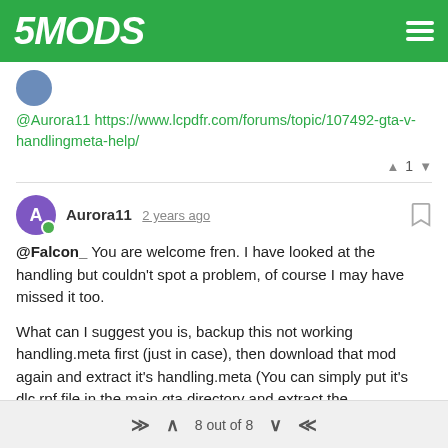5MODS
@Aurora11 https://www.lcpdfr.com/forums/topic/107492-gta-v-handlingmeta-help/
▲ 1 ▼
Aurora11 2 years ago
@Falcon_ You are welcome fren. I have looked at the handling but couldn't spot a problem, of course I may have missed it too.

What can I suggest you is, backup this not working handling.meta first (just in case), then download that mod again and extract it's handling.meta (You can simply put it's dlc.rpf file in the main gta directory and extract the handling.meta afterwards. Change it's name to handling.meta - original so you don't confuse them).

Then you can download this https://notepad-plus-plus.org/downloads/ . Once you install it, go to Plugins > Plugins Admin . Search for Compare and install it. Notepad++ will restart. Then open up both the faulty and original handlings and go to
8 out of 8